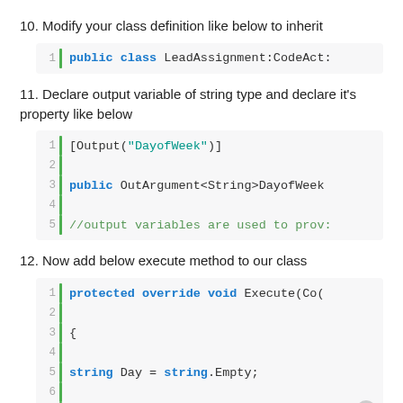10. Modify your class definition like below to inherit
[Figure (screenshot): Code block showing: 1 | public class LeadAssignment:CodeAct:]
11. Declare output variable of string type and declare it's property like below
[Figure (screenshot): Code block lines 1-5: [Output("DayofWeek")], blank, public OutArgument<String>DayofWeek, blank, //output variables are used to prov:]
12. Now add below execute method to our class
[Figure (screenshot): Code block lines 1-7: protected override void Execute(Co(, blank, {, blank, string Day = string.Empty;, blank, DateTime  Date = DateTime.MinValue]